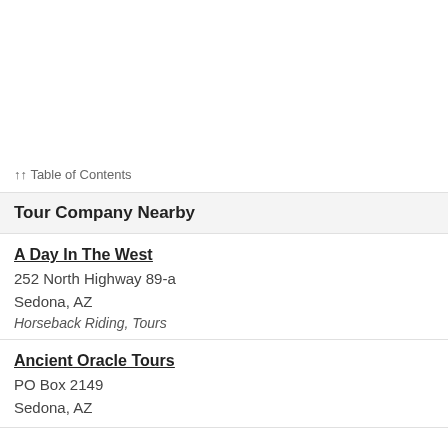↑↑ Table of Contents
Tour Company Nearby
A Day In The West
252 North Highway 89-a
Sedona, AZ
Horseback Riding, Tours
Ancient Oracle Tours
PO Box 2149
Sedona, AZ